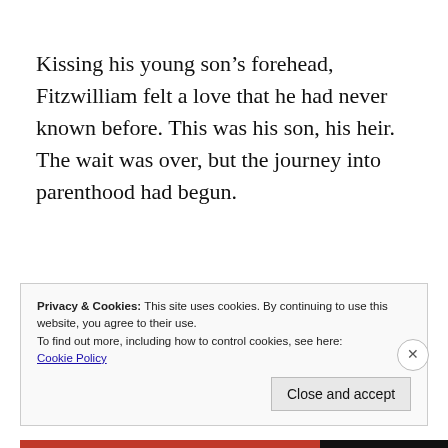Kissing his young son's forehead, Fitzwilliam felt a love that he had never known before. This was his son, his heir. The wait was over, but the journey into parenthood had begun.
Privacy & Cookies: This site uses cookies. By continuing to use this website, you agree to their use.
To find out more, including how to control cookies, see here:
Cookie Policy
Close and accept